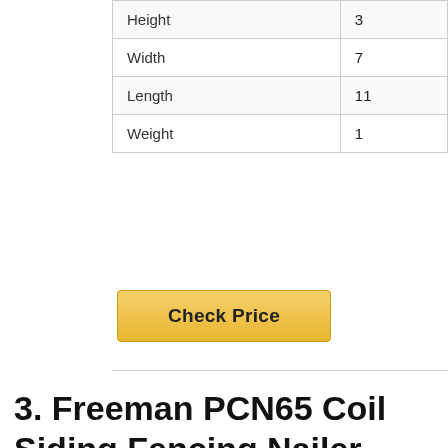| Height | 3 |
| Width | 7 |
| Length | 11 |
| Weight | 1 |
[Figure (other): Yellow 'Check Price' button]
3. Freeman PCN65 Coil Siding Fencing Nailer Ergonomic & Lightweight Pneumatic Nail Gun with Depth